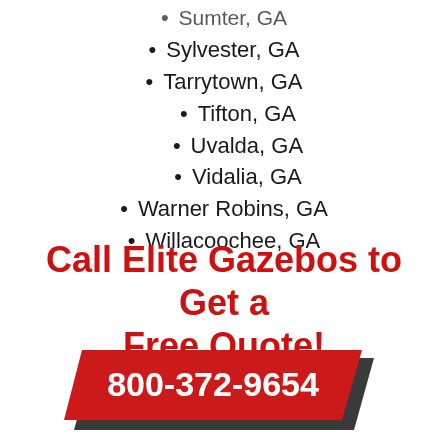Sumter, GA
Sylvester, GA
Tarrytown, GA
Tifton, GA
Uvalda, GA
Vidalia, GA
Warner Robins, GA
Willacoochee, GA
Call Elite Gazebos to Get a Free Quote!
[Figure (infographic): Red parallelogram banner with white bold text '800-372-9654' and dark gray shadow parallelogram beneath]